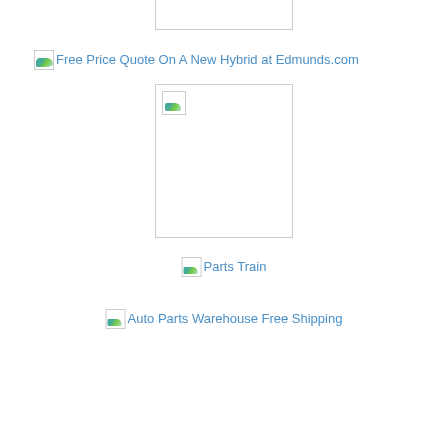[Figure (other): Broken image placeholder (top, centered), a rectangular box with no visible content]
Free Price Quote On A New Hybrid at Edmunds.com
[Figure (other): Large broken image placeholder with broken image icon in top-left corner]
Parts Train
Auto Parts Warehouse Free Shipping